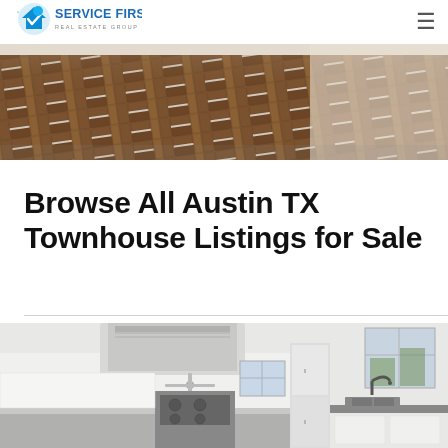[Figure (photo): Service First Real Estate Group logo with blue house/checkmark icon]
[Figure (photo): Hero banner showing close-up of herringbone hardwood floor pattern in warm brown tones with white tile area]
Browse All Austin TX Townhouse Listings for Sale
[Figure (photo): Modern white kitchen interior showing range hood, stainless steel appliances, gas stove, white cabinets, and black sink with faucet near window]